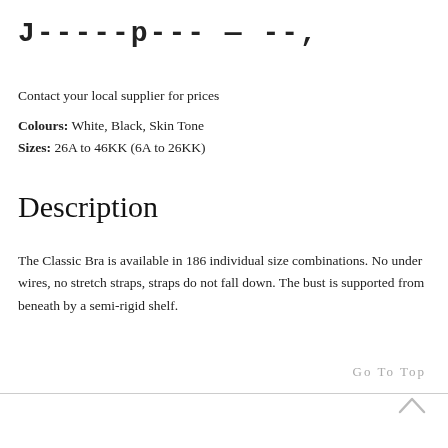J-----p--- — --,
Contact your local supplier for prices
Colours: White, Black, Skin Tone
Sizes: 26A to 46KK (6A to 26KK)
Description
The Classic Bra is available in 186 individual size combinations. No under wires, no stretch straps, straps do not fall down. The bust is supported from beneath by a semi-rigid shelf.
Go To Top